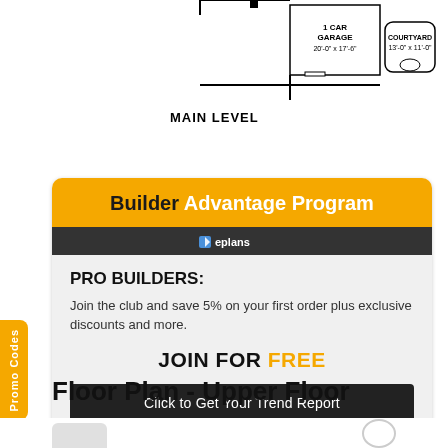[Figure (engineering-diagram): Partial floor plan showing main level with 1 car garage (20'-0" x 17'-6") and courtyard (13'-0" x 11'-0")]
MAIN LEVEL
Builder Advantage Program
ePLANS
PRO BUILDERS:
Join the club and save 5% on your first order plus exclusive discounts and more.
JOIN FOR FREE
Click to Get Your Trend Report
Promo Codes
Floor Plan - Upper Floor